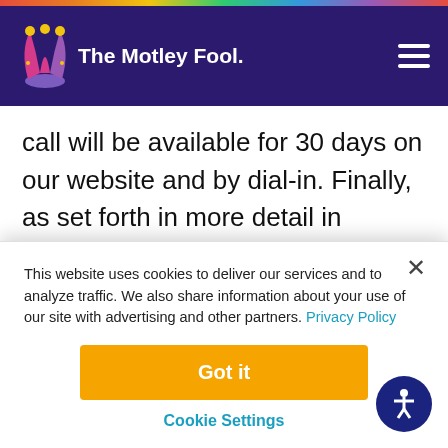[Figure (logo): The Motley Fool logo with jester hat on dark navy header background]
call will be available for 30 days on our website and by dial-in. Finally, as set forth in more detail in today's earnings release, I will remind everyone that today's call may include forward-looking statements about Verisk's future performance.
This website uses cookies to deliver our services and to analyze traffic. We also share information about your use of our site with advertising and other partners. Privacy Policy
Got it
Cookie Settings